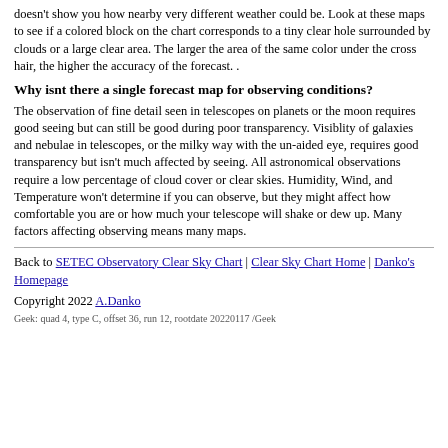doesn't show you how nearby very different weather could be. Look at these maps to see if a colored block on the chart corresponds to a tiny clear hole surrounded by clouds or a large clear area. The larger the area of the same color under the cross hair, the higher the accuracy of the forecast. .
Why isnt there a single forecast map for observing conditions?
The observation of fine detail seen in telescopes on planets or the moon requires good seeing but can still be good during poor transparency. Visiblity of galaxies and nebulae in telescopes, or the milky way with the un-aided eye, requires good transparency but isn't much affected by seeing. All astronomical observations require a low percentage of cloud cover or clear skies. Humidity, Wind, and Temperature won't determine if you can observe, but they might affect how comfortable you are or how much your telescope will shake or dew up. Many factors affecting observing means many maps.
Back to SETEC Observatory Clear Sky Chart | Clear Sky Chart Home | Danko's Homepage
Copyright 2022 A.Danko
Geek: quad 4, type C, offset 36, run 12, rootdate 20220117 /Geek